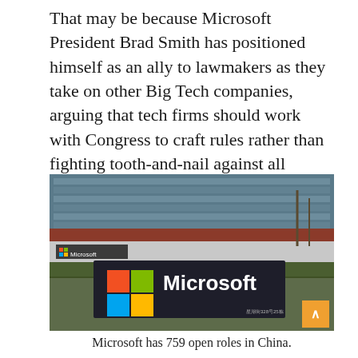That may be because Microsoft President Brad Smith has positioned himself as an ally to lawmakers as they take on other Big Tech companies, arguing that tech firms should work with Congress to craft rules rather than fighting tooth-and-nail against all regulation.
[Figure (photo): Photo of a Microsoft office building exterior with a large dark sign showing the Microsoft logo (four colored squares) and the word 'Microsoft' in white text. The sign reads '星湖街328号25栋' in the lower right corner.]
Microsoft has 759 open roles in China.